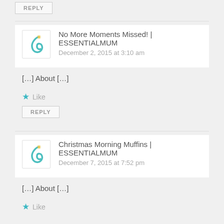REPLY
No More Moments Missed! | ESSENTIALMUM
December 2, 2015 at 3:10 am
[…] About […]
Like
REPLY
Christmas Morning Muffins | ESSENTIALMUM
December 7, 2015 at 7:52 pm
[…] About […]
Like